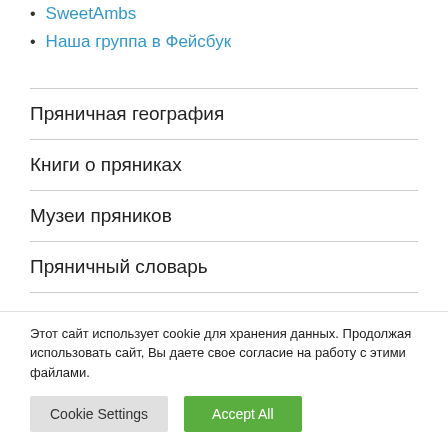SweetAmbs
Наша группа в Фейсбук
Пряничная география
Книги о пряниках
Музеи пряников
Пряничный словарь
Этот сайт использует cookie для хранения данных. Продолжая использовать сайт, Вы даете свое согласие на работу с этими файлами.